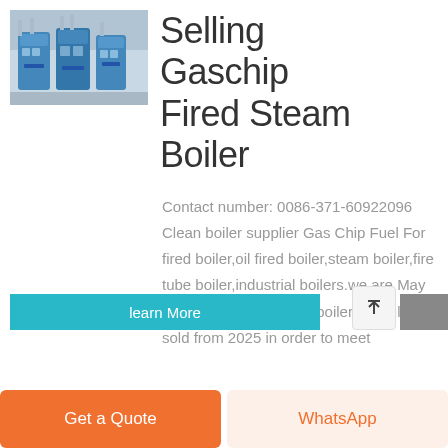[Figure (photo): Industrial boiler equipment photo showing multiple gas/steam boilers in a facility]
Selling Gaschip Fired Steam Boiler
Contact number: 0086-371-60922096 Clean boiler supplier Gas Chip Fuel For fired boiler,oil fired boiler,steam boiler,fire tube boiler,industrial boilers.we are May 18, 2021 · No new gas boilers should be sold from 2025 in order to meet
learn More
Get a Quote
WhatsApp